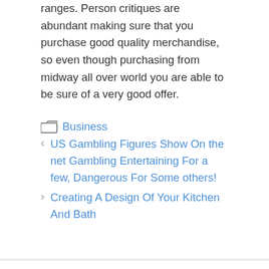ranges. Person critiques are abundant making sure that you purchase good quality merchandise, so even though purchasing from midway all over world you are able to be sure of a very good offer.
Business
< US Gambling Figures Show On the net Gambling Entertaining For a few, Dangerous For Some others!
> Creating A Design Of Your Kitchen And Bath
Search